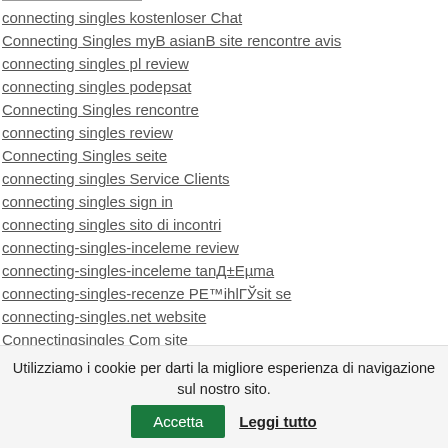connecting singles kostenloser Chat
Connecting Singles myB asianB site rencontre avis
connecting singles pl review
connecting singles podepsat
Connecting Singles rencontre
connecting singles review
Connecting Singles seite
connecting singles Service Clients
connecting singles sign in
connecting singles sito di incontri
connecting-singles-inceleme review
connecting-singles-inceleme tanД±Еµma
connecting-singles-recenze PE™ihlГЎsit se
connecting-singles.net website
Connectingsingles Com site
Utilizziamo i cookie per darti la migliore esperienza di navigazione sul nostro sito.
Accetta
Leggi tutto